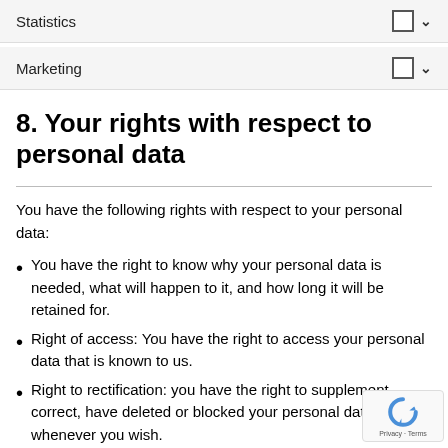Statistics
Marketing
8. Your rights with respect to personal data
You have the following rights with respect to your personal data:
You have the right to know why your personal data is needed, what will happen to it, and how long it will be retained for.
Right of access: You have the right to access your personal data that is known to us.
Right to rectification: you have the right to supplement, correct, have deleted or blocked your personal data whenever you wish.
If you give us your consent to process your data, you have the right to revoke that consent and to have your personal